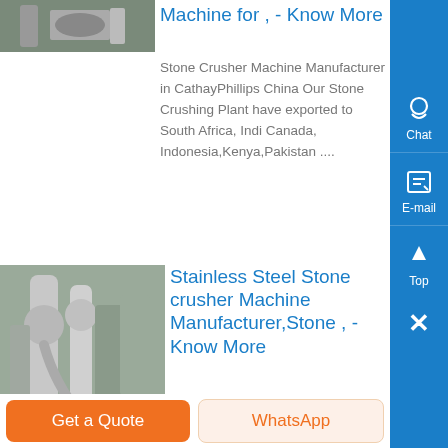[Figure (photo): Partial image of stone crusher machine at top left, cropped]
Machine for , - Know More
Stone Crusher Machine Manufacturer in CathayPhillips China Our Stone Crushing Plant have exported to South Africa, Indi Canada, Indonesia,Kenya,Pakistan ....
[Figure (photo): Stainless steel stone crusher machine with pipes and machinery]
Stainless Steel Stone crusher Machine Manufacturer,Stone , - Know More
This stone crusher machine has high power that can crush any kind of stones within seconds Popular for it s outstanding features, the offered produ...